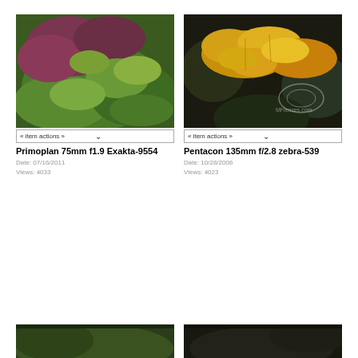[Figure (photo): Close-up photo of green and reddish-purple leaves (shrub/bush), used as lens sample image for Primoplan 75mm f1.9 Exakta]
« item actions »
Primoplan 75mm f1.9 Exakta-9554
Date: 07/16/2011
Views: 4033
[Figure (photo): Dark background photo of yellow/orange autumn maple leaves, watermarked with MFlenses.com logo]
« item actions »
Pentacon 135mm f/2.8 zebra-539
Date: 10/28/2006
Views: 4023
[Figure (photo): Partially visible bottom photo on left side, dark green tones]
[Figure (photo): Partially visible bottom photo on right side, dark tones]